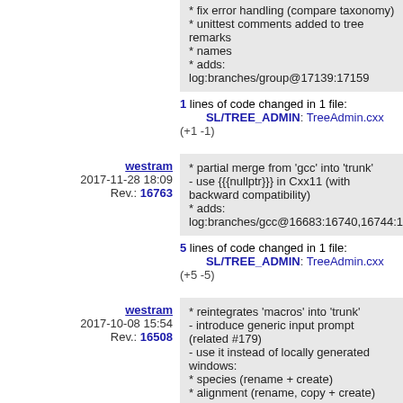* fix error handling (compare taxonomy)
* unittest comments added to tree remarks
* names
* adds: log:branches/group@17139:17159
1 lines of code changed in 1 file:
SL/TREE_ADMIN: TreeAdmin.cxx (+1 -1)
westram
2017-11-28 18:09
Rev.: 16763
* partial merge from 'gcc' into 'trunk'
- use {{{nullptr}}} in Cxx11 (with backward compatibility)
* adds:
log:branches/gcc@16683:16740,16744:167...
5 lines of code changed in 1 file:
SL/TREE_ADMIN: TreeAdmin.cxx (+5 -5)
westram
2017-10-08 15:54
Rev.: 16508
* reintegrates 'macros' into 'trunk'
- introduce generic input prompt (related #179)
- use it instead of locally generated windows:
* species (rename + create)
* alignment (rename, copy + create)